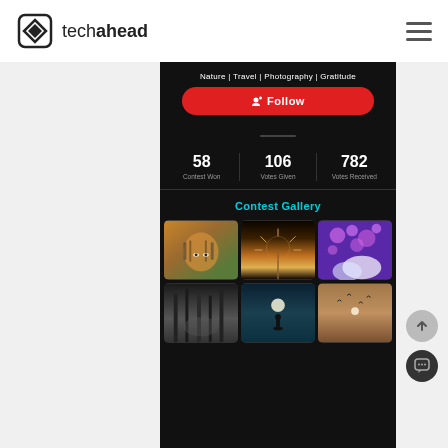[Figure (logo): TechAhead logo with diamond/arrow icon and wordmark]
[Figure (screenshot): Mobile app screenshot showing a photography profile page with categories (Nature | Travel | Photography | Gratitude), Follow button, stats (58 Contest Won, 106 Votes Given, 782 Votes Received), Contest Gallery section with 6 photo thumbnails (tiger, dandelion at sunset, purple flowers, black & white forest, moon/silhouette, birds/landscape)]